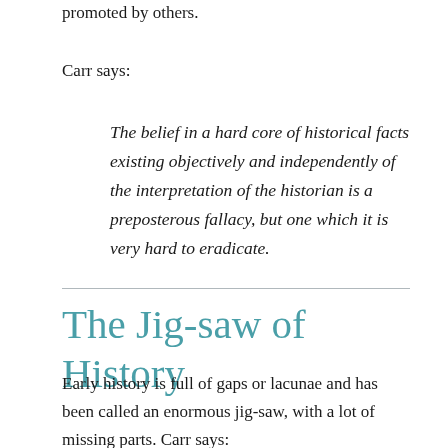promoted by others.
Carr says:
The belief in a hard core of historical facts existing objectively and independently of the interpretation of the historian is a preposterous fallacy, but one which it is very hard to eradicate.
The Jig-saw of History
Early history is full of gaps or lacunae and has been called an enormous jig-saw, with a lot of missing parts. Carr says: